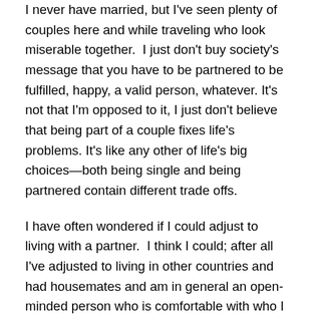I never have married, but I've seen plenty of couples here and while traveling who look miserable together. I just don't buy society's message that you have to be partnered to be fulfilled, happy, a valid person, whatever. It's not that I'm opposed to it, I just don't believe that being part of a couple fixes life's problems. It's like any other of life's big choices—both being single and being partnered contain different trade offs.
I have often wondered if I could adjust to living with a partner. I think I could; after all I've adjusted to living in other countries and had housemates and am in general an open-minded person who is comfortable with who I am. I'm usually good at speaking up for what I want and don't want, which seems like the basis of good communications.
Yadda yadda yadda. Have a good Valentine's Day with someone, or if the words kind of end here...